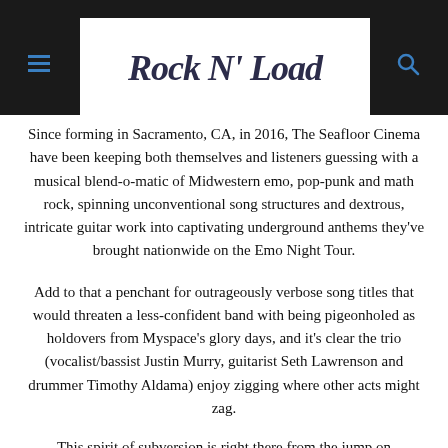Rock N' Load
Since forming in Sacramento, CA, in 2016, The Seafloor Cinema have been keeping both themselves and listeners guessing with a musical blend-o-matic of Midwestern emo, pop-punk and math rock, spinning unconventional song structures and dextrous, intricate guitar work into captivating underground anthems they've brought nationwide on the Emo Night Tour.
Add to that a penchant for outrageously verbose song titles that would threaten a less-confident band with being pigeonholed as holdovers from Myspace's glory days, and it's clear the trio (vocalist/bassist Justin Murry, guitarist Seth Lawrenson and drummer Timothy Aldama) enjoy zigging where other acts might zag.
This spirit of subversion is right there from the jump on